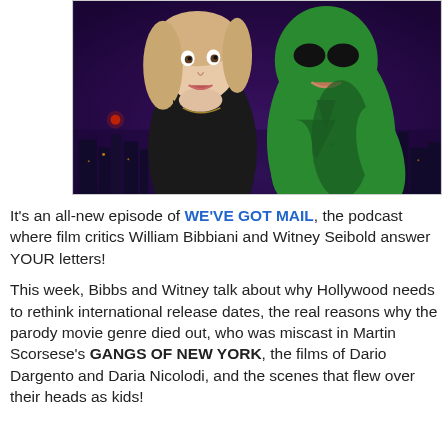[Figure (photo): A woman in a black dress next to a person in a green superhero costume, against a city skyline at night with purple/blue sky]
It's an all-new episode of WE'VE GOT MAIL, the podcast where film critics William Bibbiani and Witney Seibold answer YOUR letters!
This week, Bibbs and Witney talk about why Hollywood needs to rethink international release dates, the real reasons why the parody movie genre died out, who was miscast in Martin Scorsese's GANGS OF NEW YORK, the films of Dario Dargento and Daria Nicolodi, and the scenes that flew over their heads as kids!